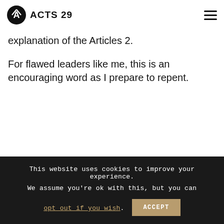ACTS 29
explanation of the Articles 2.
For flawed leaders like me, this is an encouraging word as I prepare to repent.
Guided questions
This website uses cookies to improve your experience. We assume you're ok with this, but you can opt out if you wish. ACCEPT